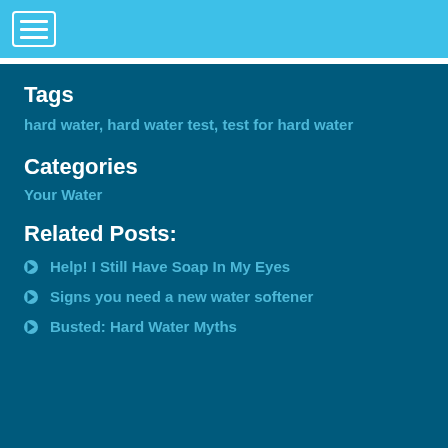[Figure (other): Navigation menu icon (hamburger button) in a light blue header bar]
Tags
hard water, hard water test, test for hard water
Categories
Your Water
Related Posts:
Help! I Still Have Soap In My Eyes
Signs you need a new water softener
Busted: Hard Water Myths